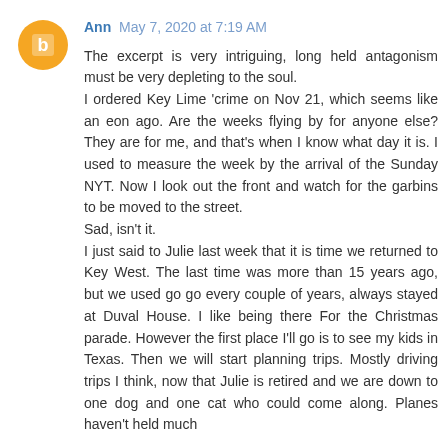Ann May 7, 2020 at 7:19 AM
The excerpt is very intriguing, long held antagonism must be very depleting to the soul.
I ordered Key Lime 'crime on Nov 21, which seems like an eon ago. Are the weeks flying by for anyone else? They are for me, and that's when I know what day it is. I used to measure the week by the arrival of the Sunday NYT. Now I look out the front and watch for the garbins to be moved to the street.

Sad, isn't it.

I just said to Julie last week that it is time we returned to Key West. The last time was more than 15 years ago, but we used go go every couple of years, always stayed at Duval House. I like being there For the Christmas parade. However the first place I'll go is to see my kids in Texas. Then we will start planning trips. Mostly driving trips I think, now that Julie is retired and we are down to one dog and one cat who could come along. Planes haven't held much